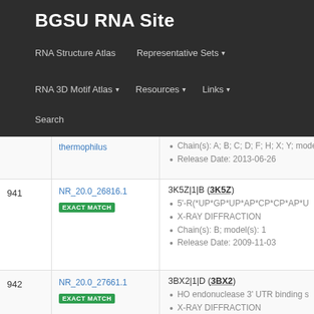BGSU RNA Site
RNA Structure Atlas | Representative Sets ▾ | RNA 3D Motif Atlas ▾ | Resources ▾ | Links ▾ | Search
| # | ID | Details |
| --- | --- | --- |
| 941 | NR_20.0_26816.1 EXACT MATCH | 3K5Z|1|B (3K5Z)
• 5'-R(*UP*GP*UP*AP*CP*CP*AP*UP*A)-3
• X-RAY DIFFRACTION
• Chain(s): B; model(s): 1
• Release Date: 2009-11-03 |
| 942 | NR_20.0_27661.1 EXACT MATCH | 3BX2|1|D (3BX2)
• HO endonuclease 3' UTR binding sequer
• X-RAY DIFFRACTION
• Chain(s): D; model(s): 1
• Release Date: 2008-03-11 |